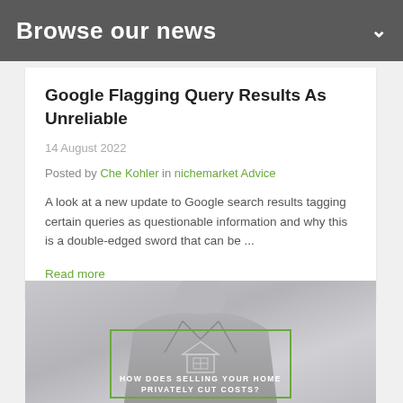Browse our news
Google Flagging Query Results As Unreliable
14 August 2022
Posted by Che Kohler in nichemarket Advice
A look at a new update to Google search results tagging certain queries as questionable information and why this is a double-edged sword that can be ...
Read more
[Figure (photo): A person in a grey suit holding something, with a green-bordered box overlay and text reading HOW DOES SELLING YOUR HOME PRIVATELY CUT COSTS?]